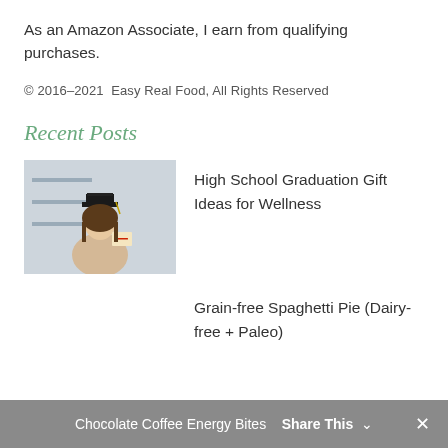As an Amazon Associate, I earn from qualifying purchases.
© 2016–2021  Easy Real Food, All Rights Reserved
Recent Posts
[Figure (photo): A young woman in graduation cap and gown holding a diploma, standing in front of shelves]
High School Graduation Gift Ideas for Wellness
Grain-free Spaghetti Pie (Dairy-free + Paleo)
Chocolate Coffee Energy Bites  Share This  ✕